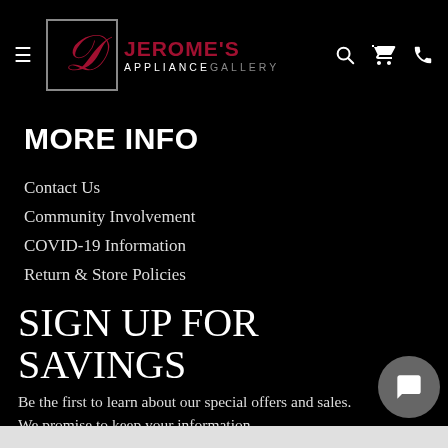Jerome's Appliance Gallery - navigation header with hamburger menu, logo, search, cart, and phone icons
MORE INFO
Contact Us
Community Involvement
COVID-19 Information
Return & Store Policies
SIGN UP FOR SAVINGS
Be the first to learn about our special offers and sales. We promise to keep your information